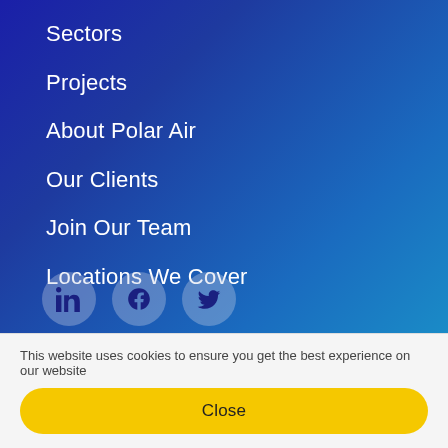Sectors
Projects
About Polar Air
Our Clients
Join Our Team
Locations We Cover
[Figure (illustration): Three social media icons in circular grey buttons: LinkedIn, Facebook, Twitter]
This website uses cookies to ensure you get the best experience on our website
Close